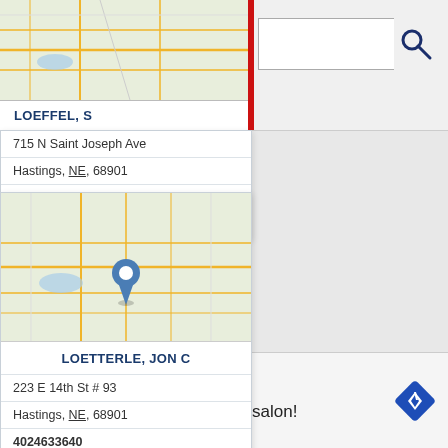[Figure (screenshot): Map thumbnail at top of page showing road map view]
LOEFFEL, S
[Figure (screenshot): Search input box with red cursor bar and search magnifier icon]
715 N Saint Joseph Ave
Hastings, NE, 68901
4024634521
Doctors
[Figure (map): Map thumbnail showing Hastings NE with blue location pin marker]
LOETTERLE, JON C
223 E 14th St # 93
Hastings, NE, 68901
4024633640
Grief Support Groups
View store hours, get directions, or call your salon!